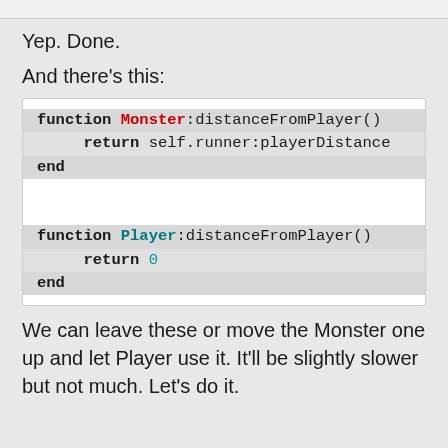Yep. Done.
And there's this:
[Figure (screenshot): Code block showing two Lua functions: Monster:distanceFromPlayer() returning self.runner:playerDistance and Player:distanceFromPlayer() returning 0]
We can leave these or move the Monster one up and let Player use it. It'll be slightly slower but not much. Let's do it.